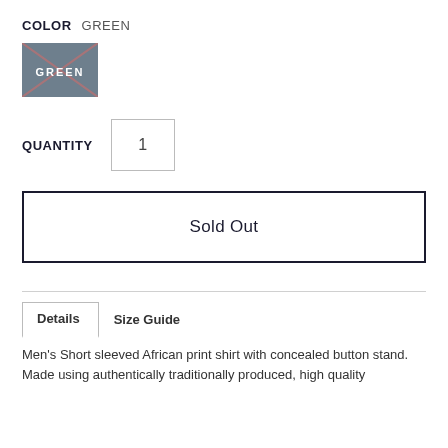COLOR  GREEN
[Figure (other): A rectangular color swatch in muted blue-grey with the text GREEN and an X cross overlay in pinkish-red lines indicating the color is sold out or selected]
QUANTITY  1
Sold Out
Details   Size Guide
Men's Short sleeved African print shirt with concealed button stand. Made using authentically traditionally produced, high quality...